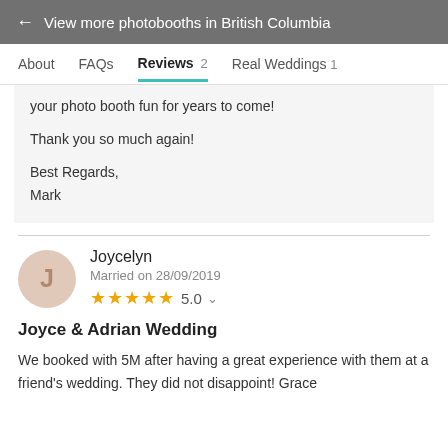← View more photobooths in British Columbia
About   FAQs   Reviews 2   Real Weddings 1
your photo booth fun for years to come!

Thank you so much again!

Best Regards,
Mark
Joycelyn
Married on 28/09/2019
★★★★★ 5.0
Joyce & Adrian Wedding
We booked with 5M after having a great experience with them at a friend's wedding. They did not disappoint! Grace